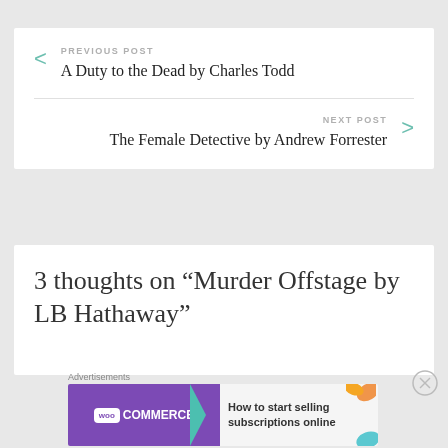PREVIOUS POST
A Duty to the Dead by Charles Todd
NEXT POST
The Female Detective by Andrew Forrester
3 thoughts on “Murder Offstage by LB Hathaway”
Advertisements
[Figure (screenshot): WooCommerce advertisement banner: 'How to start selling subscriptions online']